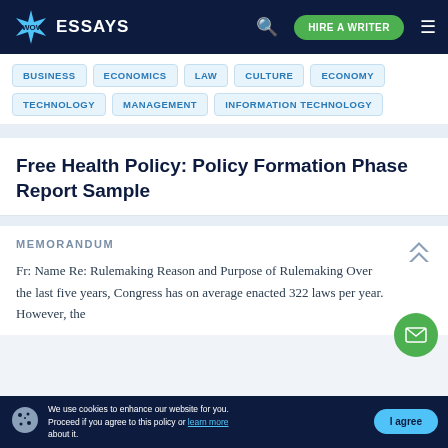WOW ESSAYS | HIRE A WRITER
BUSINESS
ECONOMICS
LAW
CULTURE
ECONOMY
TECHNOLOGY
MANAGEMENT
INFORMATION TECHNOLOGY
Free Health Policy: Policy Formation Phase Report Sample
MEMORANDUM
Fr: Name Re: Rulemaking Reason and Purpose of Rulemaking Over the last five years, Congress has on average enacted 322 laws per year. However, the
We use cookies to enhance our website for you. Proceed if you agree to this policy or learn more about it. | I agree